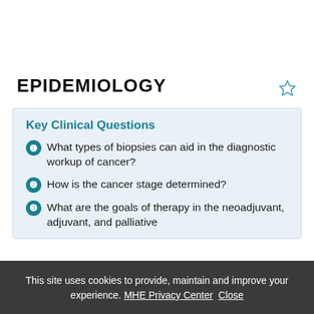EPIDEMIOLOGY
Key Clinical Questions
What types of biopsies can aid in the diagnostic workup of cancer?
How is the cancer stage determined?
What are the goals of therapy in the neoadjuvant, adjuvant, and palliative
This site uses cookies to provide, maintain and improve your experience. MHE Privacy Center Close